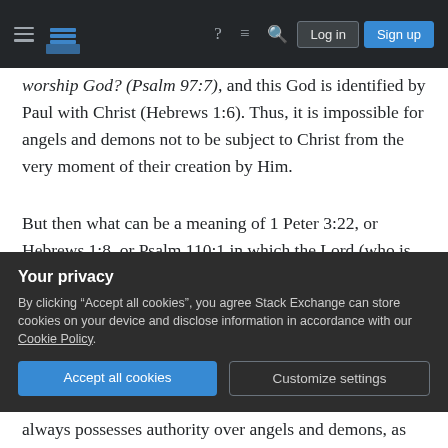Stack Exchange navigation bar with hamburger menu, logo, help icon, chat icon, search icon, Log in button, Sign up button
worship God? (Psalm 97:7), and this God is identified by Paul with Christ (Hebrews 1:6). Thus, it is impossible for angels and demons not to be subject to Christ from the very moment of their creation by Him.
But then what can be a meaning of 1 Peter 3:22, or Hebrews 1:8, or Psalm 110:1 in which the Lord (who is to sit on the right hand of the Lord, until the Latter will subject all enemies to the Former) Jesus Christ identifies with Himself? If the same authority befits to the Father and the Logos/Son eternally and atemporally, without any hiatus or succession, then how can dynamism and process
Your privacy
By clicking "Accept all cookies", you agree Stack Exchange can store cookies on your device and disclose information in accordance with our Cookie Policy.
Accept all cookies
Customize settings
always possesses authority over angels and demons, as